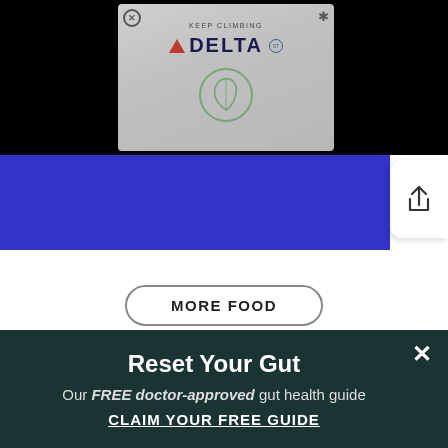[Figure (screenshot): Delta Air Lines 'Keep Climbing' advertisement popup with red triangle logo, Delta wordmark in navy, and a green leaf circular icon on a gray gradient background]
[Figure (screenshot): Dark blue/navy band with a share/export button icon on the right side]
MORE FOOD
Popular Stories
Reset Your Gut
Our FREE doctor-approved gut health guide
CLAIM YOUR FREE GUIDE